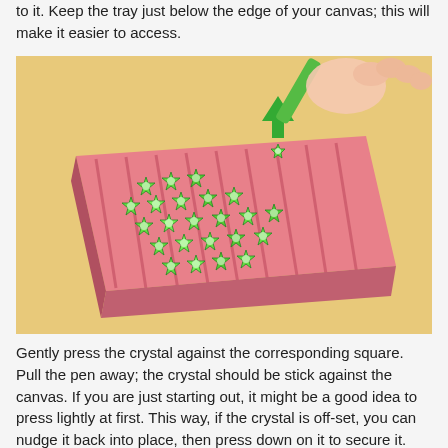to it. Keep the tray just below the edge of your canvas; this will make it easier to access.
[Figure (illustration): Illustration showing a tray with green star-shaped crystals arranged on it, and a hand holding a green pen/stylus picking up or placing a crystal, with a green arrow pointing upward indicating the motion.]
Gently press the crystal against the corresponding square. Pull the pen away; the crystal should be stick against the canvas. If you are just starting out, it might be a good idea to press lightly at first. This way, if the crystal is off-set, you can nudge it back into place, then press down on it to secure it. This is exactly like